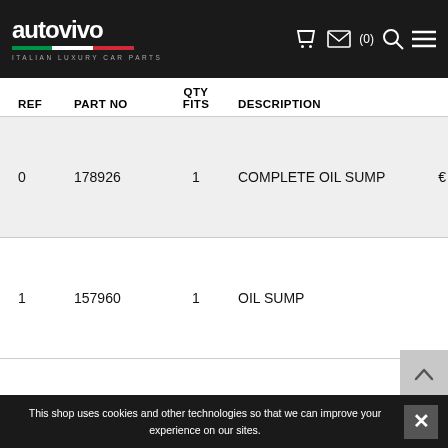autovivo ITALIAN LUXURY CAR PARTS
| REF | PART NO | QTY FITS | DESCRIPTION |  |
| --- | --- | --- | --- | --- |
| 0 | 178926 | 1 | COMPLETE OIL SUMP | € |
| 1 | 157960 | 1 | OIL SUMP |  |
This shop uses cookies and other technologies so that we can improve your experience on our sites.